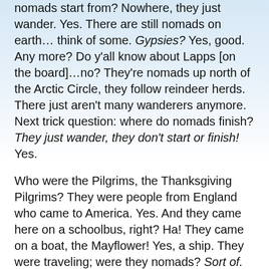nomads start from? Nowhere, they just wander. Yes. There are still nomads on earth… think of some. Gypsies? Yes, good. Any more? Do y'all know about Lapps [on the board]…no? They're nomads up north of the Arctic Circle, they follow reindeer herds. There just aren't many wanderers anymore. Next trick question: where do nomads finish? They just wander, they don't start or finish! Yes.
Who were the Pilgrims, the Thanksgiving Pilgrims? They were people from England who came to America. Yes. And they came here on a schoolbus, right? Ha! They came on a boat, the Mayflower! Yes, a ship. They were traveling; were they nomads? Sort of. And being sort of nomads, they just wandered around the ocean until they bumped into